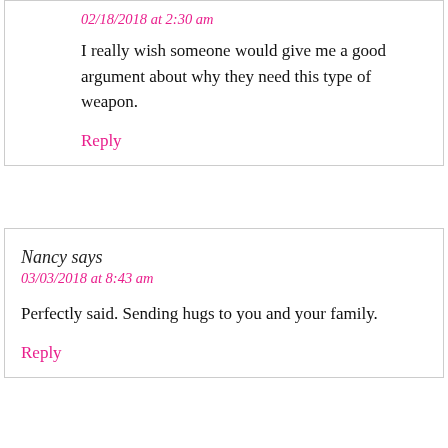02/18/2018 at 2:30 am
I really wish someone would give me a good argument about why they need this type of weapon.
Reply
Nancy says
03/03/2018 at 8:43 am
Perfectly said. Sending hugs to you and your family.
Reply